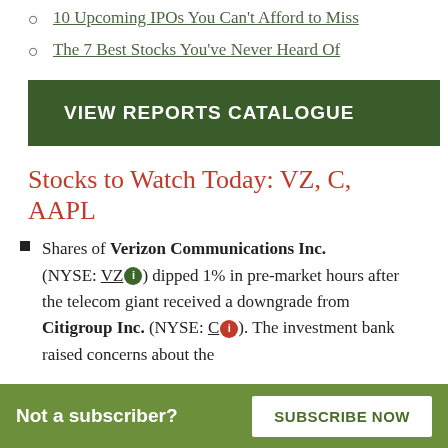10 Upcoming IPOs You Can't Afford to Miss
The 7 Best Stocks You've Never Heard Of
VIEW REPORTS CATALOGUE
Stocks to Watch Today: VZ, C, AAPL
Shares of Verizon Communications Inc. (NYSE: VZ) dipped 1% in pre-market hours after the telecom giant received a downgrade from Citigroup Inc. (NYSE: C). The investment bank raised concerns about the
Not a subscriber?
SUBSCRIBE NOW